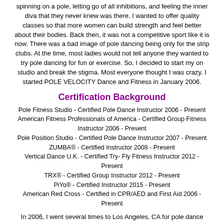spinning on a pole, letting go of all inhibitions, and feeling the inner diva that they never knew was there. I wanted to offer quality classes so that more women can build strength and feel better about their bodies. Back then, it was not a competitive sport like it is now. There was a bad image of pole dancing being only for the strip clubs. At the time, most ladies would not tell anyone they wanted to try pole dancing for fun or exercise. So, I decided to start my on studio and break the stigma. Most everyone thought I was crazy. I started POLE VELOCITY Dance and Fitness in January 2006.
Certification Background
Pole Fitness Studio - Certified Pole Dance Instructor 2006 - Present
American Fitness Professionals of America - Certified Group Fitness Instructor 2006 - Present
Pole Position Studio - Certified Pole Dance Instructor 2007 - Present
ZUMBA® - Certified Instructor 2008 - Present
Vertical Dance U.K. - Certified Try- Fly Fitness Instructor 2012 - Present
TRX® - Certified Group Instructor 2012 - Present
PiYo® - Certified Instructor 2015 - Present
American Red Cross - Certified in CPR/AED and First Aid 2006 - Present
In 2006, I went several times to Los Angeles, CA for pole dance instructor training and classes, as well as training on my own at home. In August 2006, I trained in Las Vegas, NV with Fawnia Dietrich for a 3 day private pole dance instructor certification from Pole Fitness Studio. Fawnia Dietrich is very well known as a Professional Pole Dancers, and is one of the pioneer pole dancers to start lessons and instructional DVD's for everyday women to learn the art of pole dancing. In addition, I received my Group Fitness Instructor Certification from American Fitness Professionals of America in October 2006 thought now.